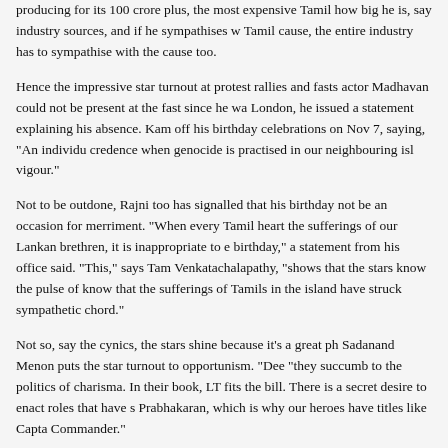producing for its 100 crore plus, the most expensive Tamil... how big he is, say industry sources, and if he sympathises w... Tamil cause, the entire industry has to sympathise with the ... cause too.
Hence the impressive star turnout at protest rallies and fasts... actor Madhavan could not be present at the fast since he wa... London, he issued a statement explaining his absence. Kam... off his birthday celebrations on Nov 7, saying, "An individu... credence when genocide is practised in our neighbouring isl... vigour."
Not to be outdone, Rajni too has signalled that his birthday ... not be an occasion for merriment. "When every Tamil heart... the sufferings of our Lankan brethren, it is inappropriate to e... birthday," a statement from his office said. "This," says Tam... Venkatachalapathy, "shows that the stars know the pulse of ... know that the sufferings of Tamils in the island have struck ... sympathetic chord."
Not so, say the cynics, the stars shine because it's a great ph... Sadanand Menon puts the star turnout to opportunism. "Dee... "they succumb to the politics of charisma. In their book, LT... fits the bill. There is a secret desire to enact roles that have s... Prabhakaran, which is why our heroes have titles like Capta... Commander."